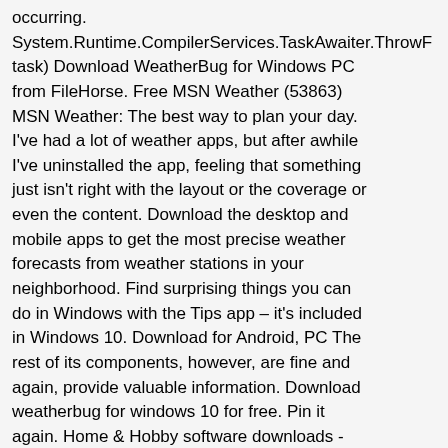occurring. System.Runtime.CompilerServices.TaskAwaiter.ThrowF task) Download WeatherBug for Windows PC from FileHorse. Free MSN Weather (53863) MSN Weather: The best way to plan your day. I've had a lot of weather apps, but after awhile I've uninstalled the app, feeling that something just isn't right with the layout or the coverage or even the content. Download the desktop and mobile apps to get the most precise weather forecasts from weather stations in your neighborhood. Find surprising things you can do in Windows with the Tips app – it's included in Windows 10. Download for Android, PC The rest of its components, however, are fine and again, provide valuable information. Download weatherbug for windows 10 for free. Pin it again. Home & Hobby software downloads - WeatherBug® by Earth Networks, Inc. and many more programs are available for instant and free download. Yes! WeatherBug is a product developed by Weatherbug. So far Weatherbug is the only app that shows you where lightning strikes are occurring. Run Windows Troubleshooter. Post back your